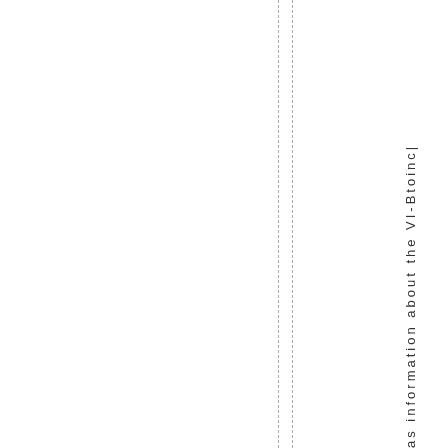as information about the VI-Btoinc|